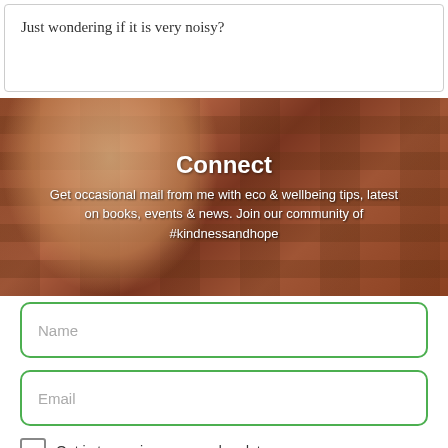Just wondering if it is very noisy?
[Figure (photo): Woman smiling at camera in front of a brick wall with plants, overlaid with text 'Connect' and newsletter signup description]
Connect
Get occasional mail from me with eco & wellbeing tips, latest on books, events & news. Join our community of #kindnessandhope
Name
Email
Opt in to receive news and updates.
SUBSCRIBE